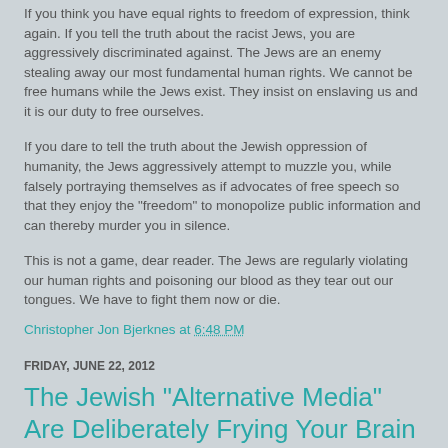If you think you have equal rights to freedom of expression, think again. If you tell the truth about the racist Jews, you are aggressively discriminated against. The Jews are an enemy stealing away our most fundamental human rights. We cannot be free humans while the Jews exist. They insist on enslaving us and it is our duty to free ourselves.
If you dare to tell the truth about the Jewish oppression of humanity, the Jews aggressively attempt to muzzle you, while falsely portraying themselves as if advocates of free speech so that they enjoy the "freedom" to monopolize public information and can thereby murder you in silence.
This is not a game, dear reader. The Jews are regularly violating our human rights and poisoning our blood as they tear out our tongues. We have to fight them now or die.
Christopher Jon Bjerknes at 6:48 PM
FRIDAY, JUNE 22, 2012
The Jewish "Alternative Media" Are Deliberately Frying Your Brain With